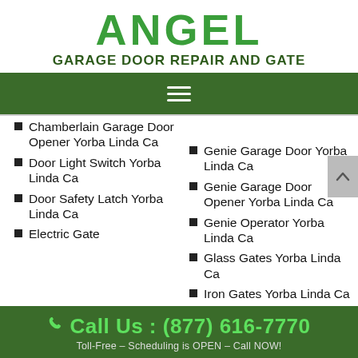ANGEL
GARAGE DOOR REPAIR AND GATE
[Figure (other): Green navigation hamburger menu bar]
Chamberlain Garage Door Opener Yorba Linda Ca
Door Light Switch Yorba Linda Ca
Door Safety Latch Yorba Linda Ca
Electric Gate (partial)
Ca (partial top)
Genie Garage Door Yorba Linda Ca
Genie Garage Door Opener Yorba Linda Ca
Genie Operator Yorba Linda Ca
Glass Gates Yorba Linda Ca
Iron Gates Yorba Linda Ca
Call Us : (877) 616-7770
Toll-Free – Scheduling is OPEN – Call NOW!